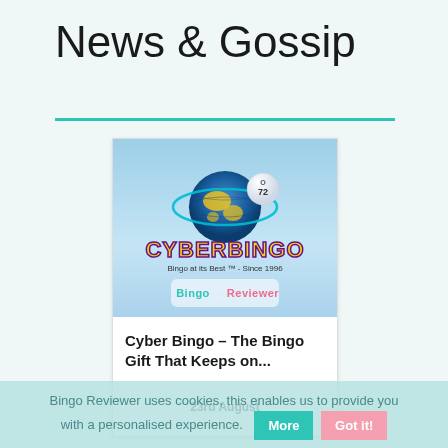News & Gossip
[Figure (logo): CyberBingo logo with a bingo ball numbered 72 orbiting a globe, with text 'CYBERBINGO – Bingo at its Best – Since 1996' and 'Bingo Reviewer' logo below]
Cyber Bingo – The Bingo Gift That Keeps on...
23rd August
Bingo Reviewer uses cookies, this enables us to provide you with a personalised experience.
More
Got it!